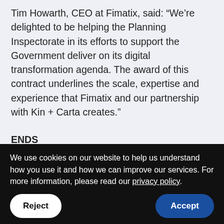Tim Howarth, CEO at Fimatix, said: “We’re delighted to be helping the Planning Inspectorate in its efforts to support the Government deliver on its digital transformation agenda. The award of this contract underlines the scale, expertise and experience that Fimatix and our partnership with Kin + Carta creates.”
ENDS
For further information, please
We use cookies on our website to help us understand how you use it and how we can improve our services. For more information, please read our privacy policy.